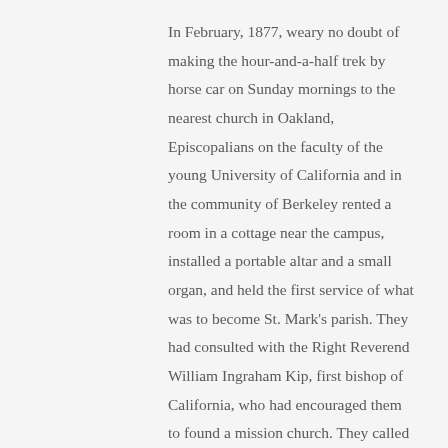In February, 1877, weary no doubt of making the hour-and-a-half trek by horse car on Sunday mornings to the nearest church in Oakland, Episcopalians on the faculty of the young University of California and in the community of Berkeley rented a room in a cottage near the campus, installed a portable altar and a small organ, and held the first service of what was to become St. Mark's parish. They had consulted with the Right Reverend William Ingraham Kip, first bishop of California, who had encouraged them to found a mission church. They called it the Bishop Berkeley Mission, in honor of